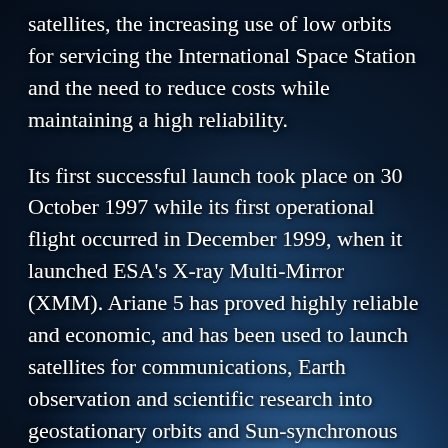satellites, the increasing use of low orbits for servicing the International Space Station and the need to reduce costs while maintaining a high reliability.
Its first successful launch took place on 30 October 1997 while its first operational flight occurred in December 1999, when it launched ESA's X-ray Multi-Mirror (XMM). Ariane 5 has proved highly reliable and economic, and has been used to launch satellites for communications, Earth observation and scientific research into geostationary orbits and Sun-synchronous orbits. ESA had to build a new launch site at Europe's spaceport in Kourou for